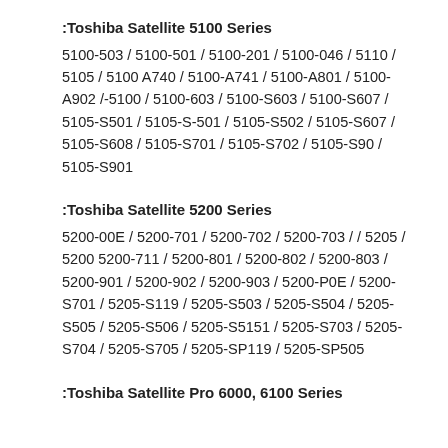:Toshiba Satellite 5100 Series
5100-503 / 5100-501 / 5100-201 / 5100-046 / 5110 / 5105 / 5100 A740 / 5100-A741 / 5100-A801 / 5100-A902 /-5100 / 5100-603 / 5100-S603 / 5100-S607 / 5105-S501 / 5105-S-501 / 5105-S502 / 5105-S607 / 5105-S608 / 5105-S701 / 5105-S702 / 5105-S90 / 5105-S901
:Toshiba Satellite 5200 Series
5200-00E / 5200-701 / 5200-702 / 5200-703 / / 5205 / 5200 5200-711 / 5200-801 / 5200-802 / 5200-803 / 5200-901 / 5200-902 / 5200-903 / 5200-P0E / 5200-S701 / 5205-S119 / 5205-S503 / 5205-S504 / 5205-S505 / 5205-S506 / 5205-S5151 / 5205-S703 / 5205-S704 / 5205-S705 / 5205-SP119 / 5205-SP505
:Toshiba Satellite Pro 6000, 6100 Series